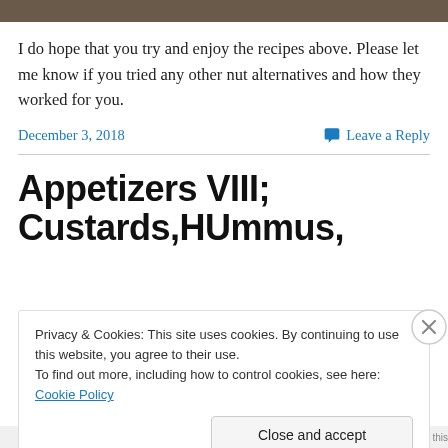[Figure (photo): Cropped photo strip at top of page, dark brownish tones]
I do hope that you try and enjoy the recipes above. Please let me know if you tried any other nut alternatives and how they worked for you.
December 3, 2018    Leave a Reply
Appetizers VIII; Custards,HUmmus,
Privacy & Cookies: This site uses cookies. By continuing to use this website, you agree to their use.
To find out more, including how to control cookies, see here: Cookie Policy
Close and accept